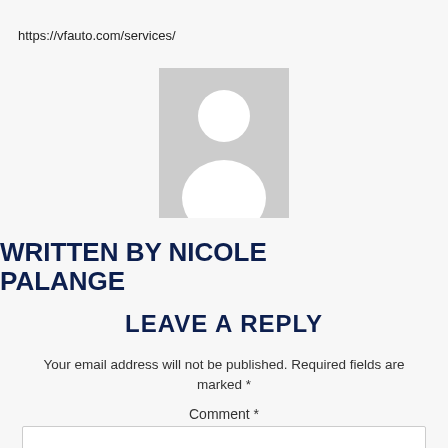https://vfauto.com/services/
[Figure (illustration): Generic user avatar placeholder — grey rectangle with white silhouette of a person (head and shoulders)]
WRITTEN BY NICOLE PALANGE
LEAVE A REPLY
Your email address will not be published. Required fields are marked *
Comment *